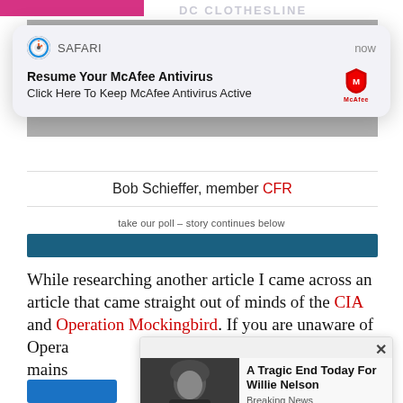[Figure (screenshot): Safari browser notification popup: 'Resume Your McAfee Antivirus - Click Here To Keep McAfee Antivirus Active' with McAfee logo]
Bob Schieffer, member CFR
take our poll - story continues below
While researching another article I came across an article that came straight out of minds of the CIA and Operation Mockingbird. If you are unaware of Opera... mains... ABC and “...
[Figure (screenshot): Ad popup: 'A Tragic End Today For Willie Nelson - Breaking News' with photo of elderly man]